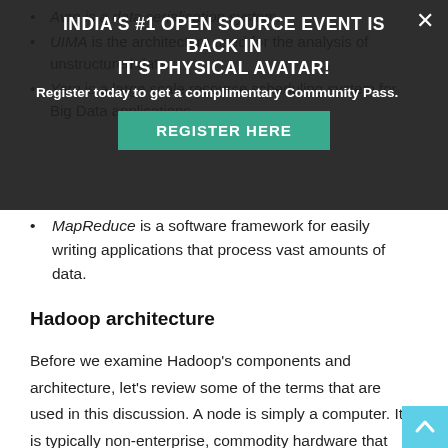[Figure (screenshot): Promotional overlay banner: 'INDIA'S #1 OPEN SOURCE EVENT IS BACK IN IT'S PHYSICAL AVATAR!' with 'Register today to get a complimentary Community Pass.' and a teal 'REGISTER HERE' button, with a close X button.]
Avro is a data serialisation system.
UIMA is the architecture used for the analysis of unstructured data.
Yarn is a large scale resource scheduling system for Big Data applications.
MapReduce is a software framework for easily writing applications that process vast amounts of data.
Hadoop architecture
Before we examine Hadoop's components and architecture, let's review some of the terms that are used in this discussion. A node is simply a computer. It is typically non-enterprise, commodity hardware that contains data. We can keep adding nodes, such as Node 2, Node 3, and so on. This is called a rack, which is a collection of 30 or 40 nodes that are physically stored close together and are all connected to the